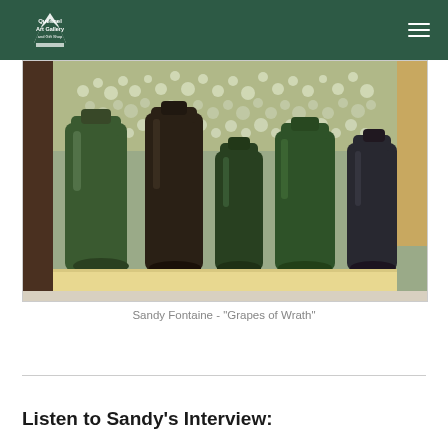Quesnel Art Gallery and Gift Shop
[Figure (photo): Artwork by Sandy Fontaine titled 'Grapes of Wrath' showing several green and dark glass bottles arranged in a mosaic/glass art piece with a wooden frame and pale wood base strip, displayed on a light surface]
Sandy Fontaine - "Grapes of Wrath"
Listen to Sandy's Interview: